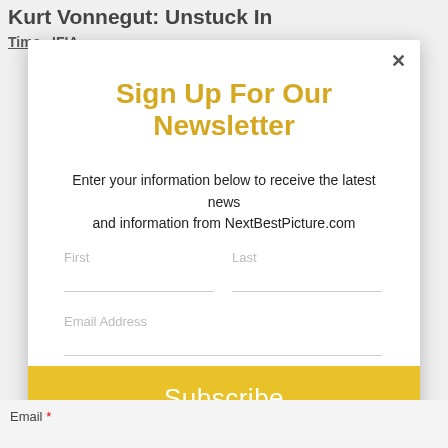Kurt Vonnegut: Unstuck In
Time   IFIA
×
Sign Up For Our Newsletter
Enter your information below to receive the latest news and information from NextBestPicture.com
First
Last
Email Address
Subscribe
Email *